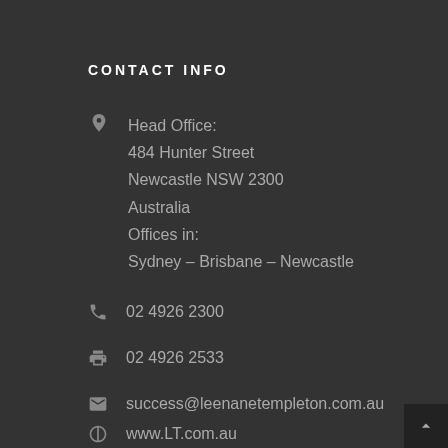CONTACT INFO
Head Office:
484 Hunter Street
Newcastle NSW 2300
Australia
Offices in:
Sydney – Brisbane – Newcastle
02 4926 2300
02 4926 2533
success@leenanetempleton.com.au
www.LT.com.au